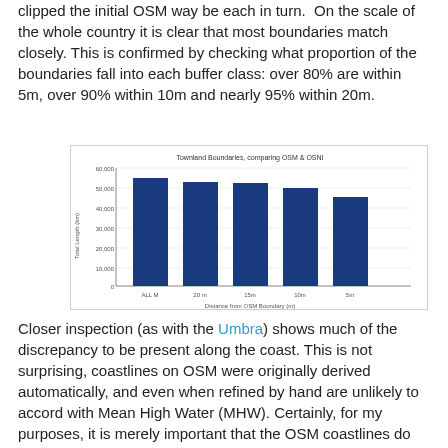clipped the initial OSM way be each in turn. On the scale of the whole country it is clear that most boundaries match closely. This is confirmed by checking what proportion of the boundaries fall into each buffer class: over 80% are within 5m, over 90% within 10m and nearly 95% within 20m.
[Figure (bar-chart): Townland Boundaries, comparing OSM & OSNI]
Closer inspection (as with the Umbra) shows much of the discrepancy to be present along the coast. This is not surprising, coastlines on OSM were originally derived automatically, and even when refined by hand are unlikely to accord with Mean High Water (MHW). Certainly, for my purposes, it is merely important that the OSM coastlines do not stray above MHW.